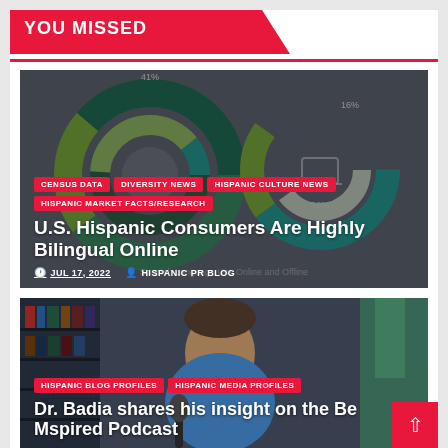YOU MISSED
[Figure (other): Donut/pie chart showing Spanish Language Use Online and Offline with segments labeled 16%, 52%, 41%]
CENSUS DATA
DIVERSITY NEWS
HISPANIC CULTURE NEWS
HISPANIC MARKET FACTS/RESEARCH
U.S. Hispanic Consumers Are Highly Bilingual Online
JUL 17, 2022   HISPANIC PR BLOG
Spanish Language Use Online and Offline
[Figure (photo): Man sitting in front of bookshelves, podcast setting]
HISPANIC BLOG PROFILES
HISPANIC MEDIA PROFILES
Dr. Badia shares his insight on the Be Mspired Podcast